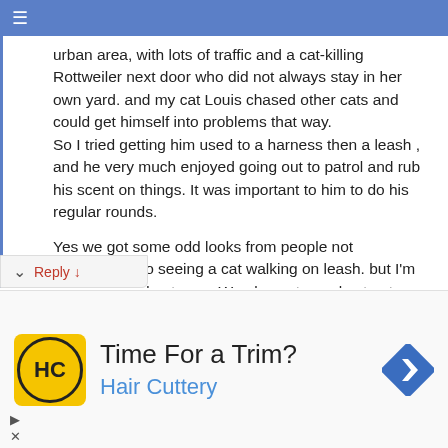≡
urban area, with lots of traffic and a cat-killing Rottweiler next door who did not always stay in her own yard. and my cat Louis chased other cats and could get himself into problems that way.
So I tried getting him used to a harness then a leash , and he very much enjoyed going out to patrol and rub his scent on things. It was important to him to do his regular rounds.

Yes we got some odd looks from people not accustomed to seeing a cat walking on leash. but I'm sure Louis did not care. We also got people stop to say hi and admire what a big handsome cat he was, and he seemed to like the homage, which he accepted as his due.
Reply ↓
[Figure (other): Advertisement for Hair Cuttery showing yellow logo with HC initials, headline 'Time For a Trim?', subtext 'Hair Cuttery', and a blue navigation/directions icon on the right.]